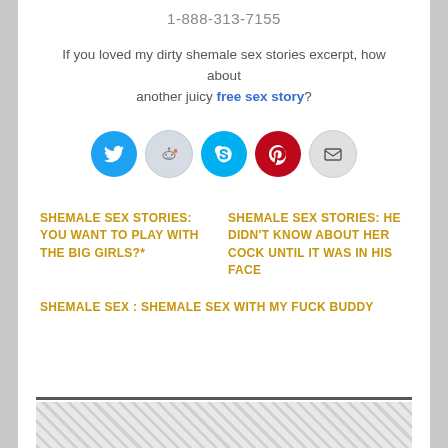1-888-313-7155
If you loved my dirty shemale sex stories excerpt, how about another juicy free sex story?
[Figure (infographic): Row of five social sharing icon circles: Twitter (blue), Reddit (light gray-blue), Skype (blue), Pinterest (red), Email (gray)]
SHEMALE SEX STORIES: YOU WANT TO PLAY WITH THE BIG GIRLS?*
SHEMALE SEX STORIES: HE DIDN'T KNOW ABOUT HER COCK UNTIL IT WAS IN HIS FACE
SHEMALE SEX : SHEMALE SEX WITH MY FUCK BUDDY